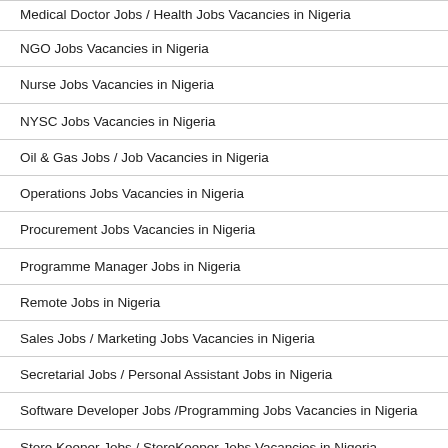Medical Doctor Jobs / Health Jobs Vacancies in Nigeria
NGO Jobs Vacancies in Nigeria
Nurse Jobs Vacancies in Nigeria
NYSC Jobs Vacancies in Nigeria
Oil & Gas Jobs / Job Vacancies in Nigeria
Operations Jobs Vacancies in Nigeria
Procurement Jobs Vacancies in Nigeria
Programme Manager Jobs in Nigeria
Remote Jobs in Nigeria
Sales Jobs / Marketing Jobs Vacancies in Nigeria
Secretarial Jobs / Personal Assistant Jobs in Nigeria
Software Developer Jobs /Programming Jobs Vacancies in Nigeria
Store Keeper Jobs / StoreKeeper Jobs Vacancies in Nigeria